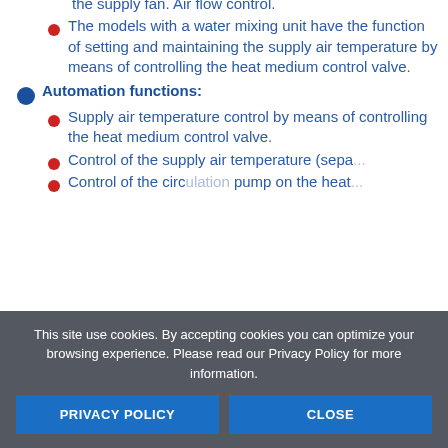the supply fan. Air flow control.
The models with a water mixing unit have the function of setting and maintaining the supply air temperature by means of controlling the heat medium control valve.
Automation functions:
Supply air temperature control by means of controlling the heat medium control valve.
Control of the supply air (sepa...
Control of the ...ulation pump on the heat...
This site use cookies. By accepting cookies you can optimize your browsing experience. Please read our Privacy Policy for more information.